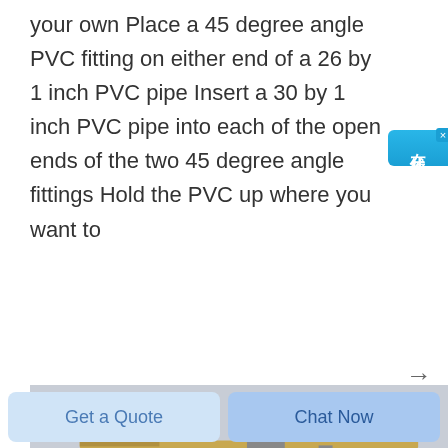your own Place a 45 degree angle PVC fitting on either end of a 26 by 1 inch PVC pipe Insert a 30 by 1 inch PVC pipe into each of the open ends of the two 45 degree angle fittings Hold the PVC up where you want to
[Figure (photo): Construction cranes photographed against a grey sky with mountains in the background. Two tower cranes visible, one prominent in the center-left and another on the right edge.]
Get a Quote
Chat Now